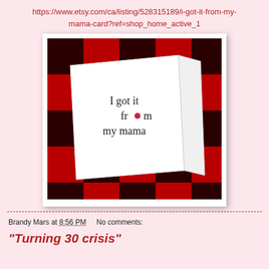https://www.etsy.com/ca/listing/528315189/i-got-it-from-my-mama-card?ref=shop_home_active_1
[Figure (photo): Photo of a white greeting card propped open on a red and black plaid fabric background. The card reads 'I got it from my mama' with a small red heart replacing the 'o' in 'from'.]
Brandy Mars at 8:56 PM    No comments:
"Turning 30 crisis"